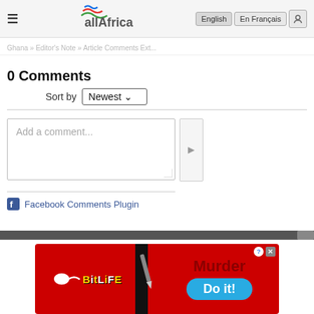allAfrica — English | En Français
0 Comments
Sort by Newest
Add a comment...
Facebook Comments Plugin
[Figure (screenshot): BitLife advertisement banner with 'Murder — Do it!' call to action]